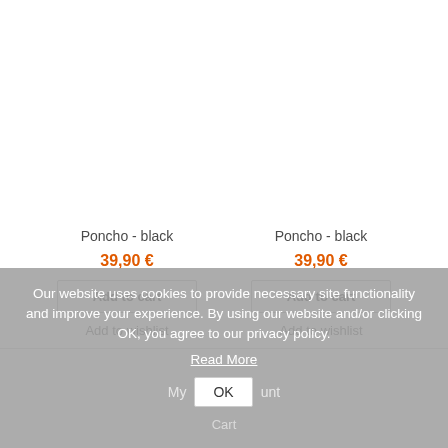Poncho - black
39,90 €
Add to cart
Add to wishlist
Poncho - black
39,90 €
Add to cart
Add to wishlist
Our website uses cookies to provide necessary site functionality and improve your experience. By using our website and/or clicking OK, you agree to our privacy policy.
Read More
My Account
OK
Cart